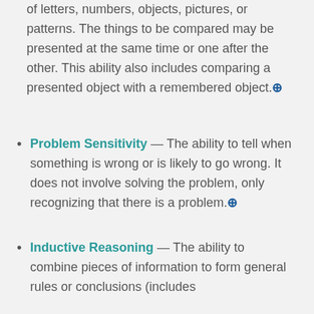of letters, numbers, objects, pictures, or patterns. The things to be compared may be presented at the same time or one after the other. This ability also includes comparing a presented object with a remembered object.
Problem Sensitivity — The ability to tell when something is wrong or is likely to go wrong. It does not involve solving the problem, only recognizing that there is a problem.
Inductive Reasoning — The ability to combine pieces of information to form general rules or conclusions (includes finding a relationship among seemingly unrelated events).